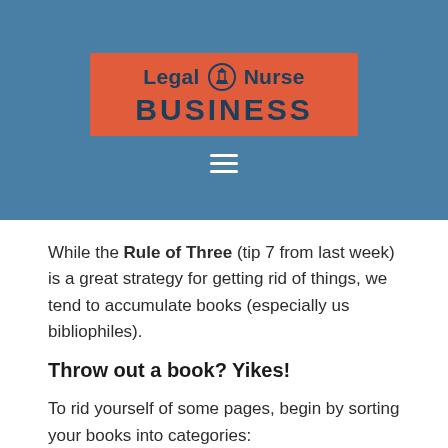[Figure (logo): Legal Nurse Business logo on red background with courthouse icon, inside a steel blue header bar with hamburger menu icon]
While the Rule of Three (tip 7 from last week) is a great strategy for getting rid of things, we tend to accumulate books (especially us bibliophiles).
Throw out a book? Yikes!
To rid yourself of some pages, begin by sorting your books into categories:
Relegated Categories...